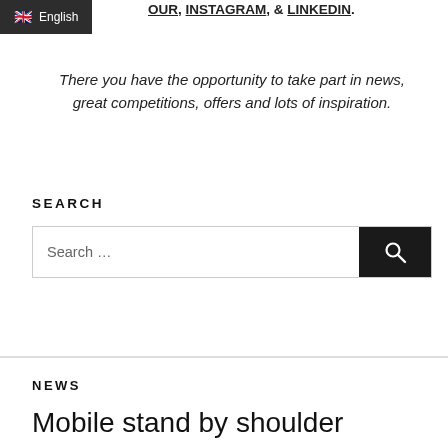🇬🇧 English
OUR, INSTAGRAM, & LINKEDIN.
There you have the opportunity to take part in news, great competitions, offers and lots of inspiration.
SEARCH
Search …
NEWS
Mobile stand by shoulder